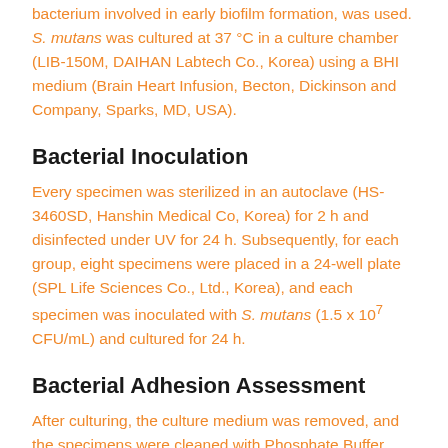bacterium involved in early biofilm formation, was used. S. mutans was cultured at 37 °C in a culture chamber (LIB-150M, DAIHAN Labtech Co., Korea) using a BHI medium (Brain Heart Infusion, Becton, Dickinson and Company, Sparks, MD, USA).
Bacterial Inoculation
Every specimen was sterilized in an autoclave (HS-3460SD, Hanshin Medical Co, Korea) for 2 h and disinfected under UV for 24 h. Subsequently, for each group, eight specimens were placed in a 24-well plate (SPL Life Sciences Co., Ltd., Korea), and each specimen was inoculated with S. mutans (1.5 x 10⁷ CFU/mL) and cultured for 24 h.
Bacterial Adhesion Assessment
After culturing, the culture medium was removed, and the specimens were cleaned with Phosphate Buffer Saline